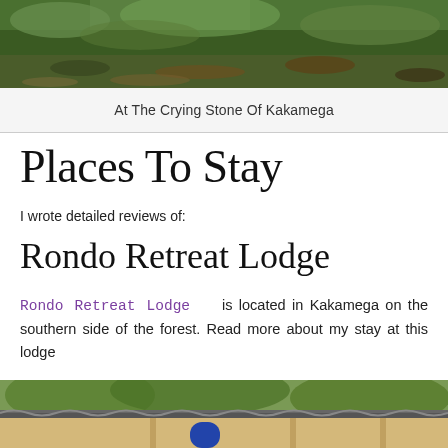[Figure (photo): Outdoor photo showing grass and fallen leaves on the ground, top portion of a nature scene]
At The Crying Stone Of Kakamega
Places To Stay
I wrote detailed reviews of:
Rondo Retreat Lodge
Rondo Retreat Lodge is located in Kakamega on the southern side of the forest. Read more about my stay at this lodge
[Figure (photo): Photo of Rondo Retreat Lodge building exterior showing corrugated roof and cream-colored walls with trees in background]